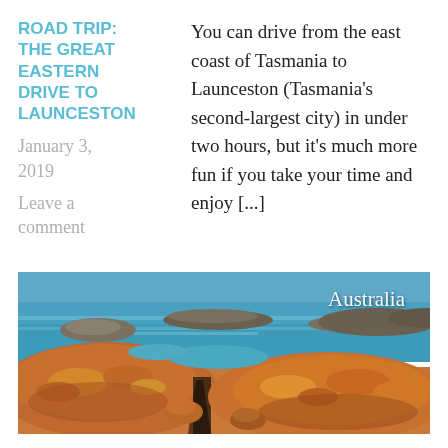ROAD TRIP: THE GREAT EASTERN DRIVE TO LAUNCESTON
January 3, 2019
Leave a comment
You can drive from the east coast of Tasmania to Launceston (Tasmania's second-largest city) in under two hours, but it's much more fun if you take your time and enjoy [...]
[Figure (photo): Coastal scene with orange lichen-covered rocks in the foreground, turquoise ocean water, rocky outcrops, and blue sky. Text overlay reads 'Australia' in the upper right.]